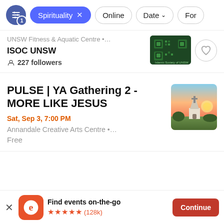Spirituality × | Online | Date | Form
UNSW Fitness & Aquatic Centre • ...
ISOC UNSW
227 followers
PULSE | YA Gathering 2 - MORE LIKE JESUS
Sat, Sep 3, 7:00 PM
Annandale Creative Arts Centre • ...
Free
Find events on-the-go ★★★★★ (128k)  Continue